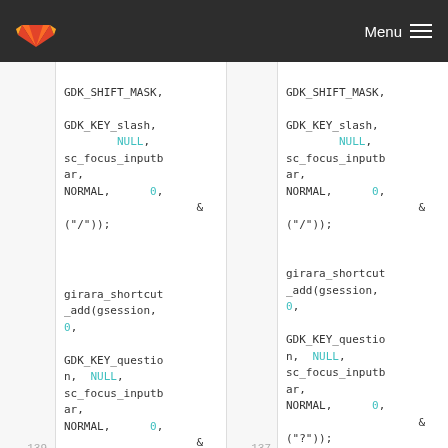GitLab — Menu
[Figure (screenshot): GitLab diff view showing two columns of code. Left column shows lines including GDK_SHIFT_MASK, GDK_KEY_slash, NULL, sc_focus_inputbar, NORMAL, 0, &, ('/'), line 139, girara_shortcut_add(gsession, 0, GDK_KEY_question, NULL, sc_focus_inputbar, NORMAL, 0, &, ('?'). Right column mirrors same code with line 137.]